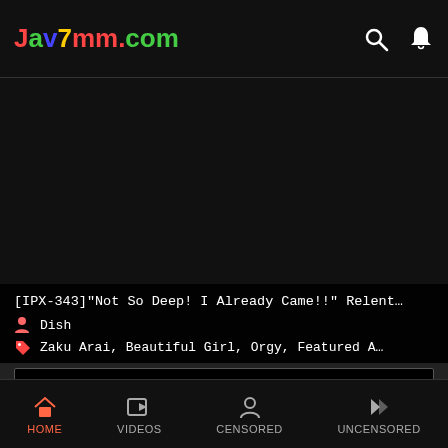Jav7mm.com
[Figure (screenshot): Dark video thumbnail area for IPX-343 video]
[IPX-343]"Not So Deep! I Already Came!!" Relent…
Dish
Zaku Arai, Beautiful Girl, Orgy, Featured A…
[HD] CT-049]Pounding Down The Alcohol With Miyuki Sakura Drunk Girl Aphrodisiac Tomfoolery
HOME  VIDEOS  CENSORED  UNCENSORED